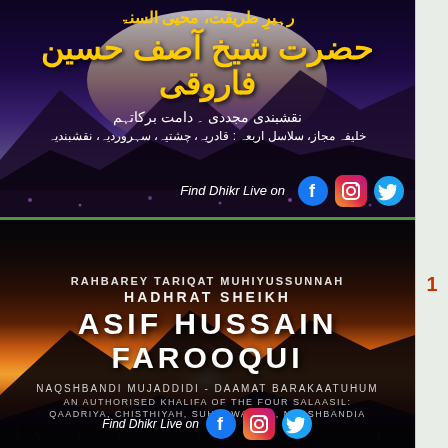[Figure (illustration): Top panel with purple/mountain landscape background and Urdu text for Rahbarey Tariqat Muhiyussunnah Hadhrat Sheikh Asif Hussain Farooqui, Naqshbandi Mujaddidi, with social media icons for Facebook, Instagram, Twitter and 'Find Dhikr Live on' text]
[Figure (illustration): Bottom panel with sunset/mountain landscape background and English text: RAHBAREY TARIQAT MUHIYUSSUNNAH HADHRAT SHEIKH ASIF HUSSAIN FAROOQUI, NAQSHBANDI MUJADDIDI - DAAMAT BARAKAATUHUM, AN AUTHORISED KHALIFA OF THE FOUR SALAASIL: QAADRIYA, CHISTHIYAH, SUHURWARDIA, NAQSHBANDIA, with social media icons and 'Find Dhikr Live on' text]
1